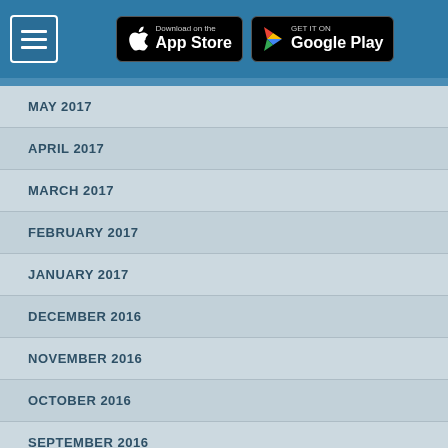App Store | Google Play
MAY 2017
APRIL 2017
MARCH 2017
FEBRUARY 2017
JANUARY 2017
DECEMBER 2016
NOVEMBER 2016
OCTOBER 2016
SEPTEMBER 2016
AUGUST 2016